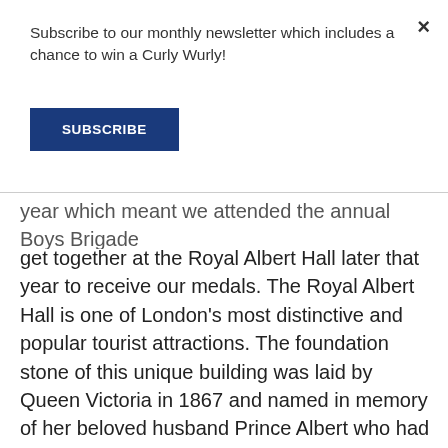Subscribe to our monthly newsletter which includes a chance to win a Curly Wurly!
SUBSCRIBE
year which meant we attended the annual Boys Brigade get together at the Royal Albert Hall later that year to receive our medals. The Royal Albert Hall is one of London's most distinctive and popular tourist attractions. The foundation stone of this unique building was laid by Queen Victoria in 1867 and named in memory of her beloved husband Prince Albert who had died six years earlier. The building was completed in 1871. During the Second World War it suffered little damage from the bombing raids. This could be because it is thought that many of the German planes used the unique structure of the building as a good landmark on